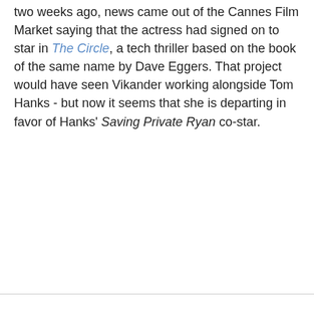two weeks ago, news came out of the Cannes Film Market saying that the actress had signed on to star in The Circle, a tech thriller based on the book of the same name by Dave Eggers. That project would have seen Vikander working alongside Tom Hanks - but now it seems that she is departing in favor of Hanks' Saving Private Ryan co-star.